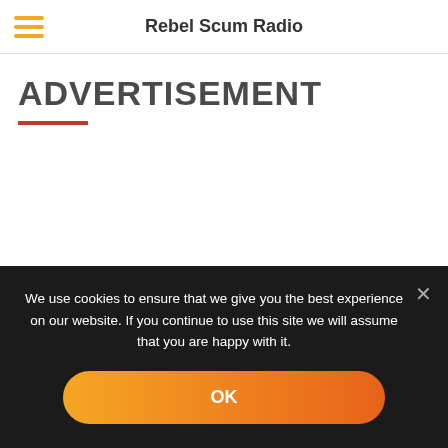Rebel Scum Radio
ADVERTISEMENT
We use cookies to ensure that we give you the best experience on our website. If you continue to use this site we will assume that you are happy with it.